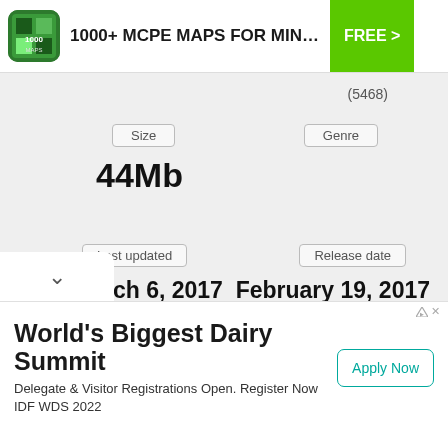1000+ MCPE MAPS FOR MINECRAFT …
(5468)
Size
44Mb
Genre
Last updated
March 6, 2017
Release date
February 19, 2017
More info
[Figure (infographic): Globe icon and envelope/mail icon]
∨
World's Biggest Dairy Summit
Delegate & Visitor Registrations Open. Register Now IDF WDS 2022
Apply Now